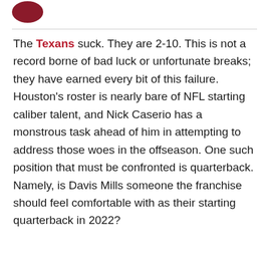[Figure (logo): Dark red circular logo partially visible in top left corner]
The Texans suck. They are 2-10. This is not a record borne of bad luck or unfortunate breaks; they have earned every bit of this failure. Houston's roster is nearly bare of NFL starting caliber talent, and Nick Caserio has a monstrous task ahead of him in attempting to address those woes in the offseason. One such position that must be confronted is quarterback. Namely, is Davis Mills someone the franchise should feel comfortable with as their starting quarterback in 2022?